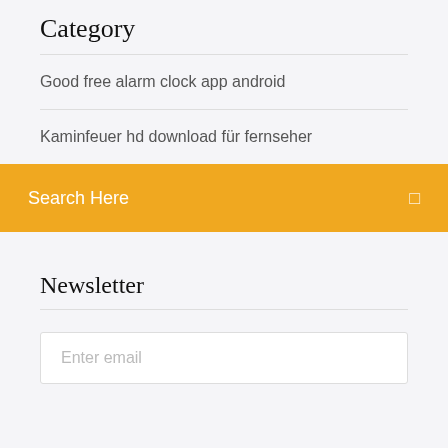Category
Good free alarm clock app android
Kaminfeuer hd download für fernseher
Search Here
Newsletter
Enter email